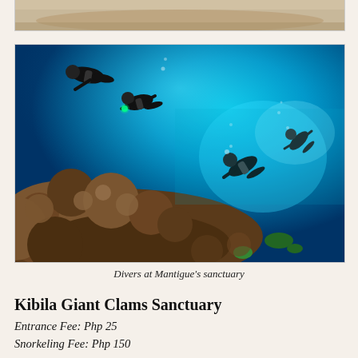[Figure (photo): Partial top of a beach/sandy shore photo, cropped at the top of the page]
[Figure (photo): Underwater photo of divers swimming above a coral reef at Mantigue's sanctuary, with bright blue water and coral formations]
Divers at Mantigue's sanctuary
Kibila Giant Clams Sanctuary
Entrance Fee: Php 25
Snorkeling Fee: Php 150